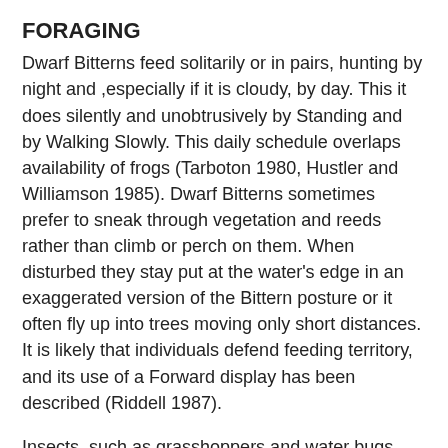FORAGING
Dwarf Bitterns feed solitarily or in pairs, hunting by night and ,especially if it is cloudy, by day. This it does silently and unobtrusively by Standing and by Walking Slowly. This daily schedule overlaps availability of frogs (Tarboton 1980, Hustler and Williamson 1985). Dwarf Bitterns sometimes prefer to sneak through vegetation and reeds rather than climb or perch on them. When disturbed they stay put at the water's edge in an exaggerated version of the Bittern posture or it often fly up into trees moving only short distances. It is likely that individuals defend feeding territory, and its use of a Forward display has been described (Riddell 1987).
Insects, such as grasshoppers and water bugs, spiders, small fish, crabs, snails and frogs form the main items of the diet. Local populations specialize in grasshoppers and frogs, and can take advantage of seasonal prey availability such as frogs in fishless seasonal pans (Hustler and Williamson 1985).